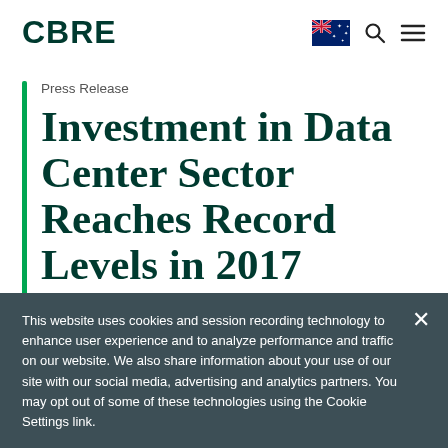CBRE
Press Release
Investment in Data Center Sector Reaches Record Levels in 2017
This website uses cookies and session recording technology to enhance user experience and to analyze performance and traffic on our website. We also share information about your use of our site with our social media, advertising and analytics partners. You may opt out of some of these technologies using the Cookie Settings link.